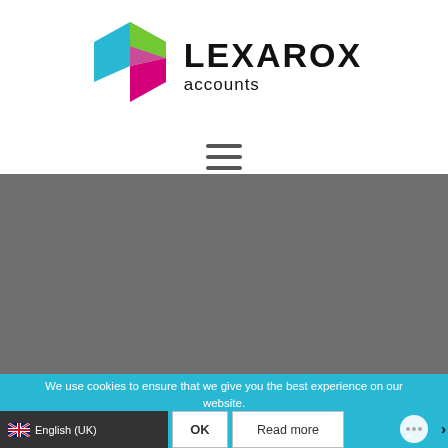[Figure (logo): Lexarox Accounts logo with a colorful hexagon (blue, green, magenta) and the text LEXAROX accounts]
[Figure (infographic): Hamburger menu icon (three horizontal lines)]
[Figure (photo): Gray banner/hero image placeholder area]
We use cookies to ensure that we give you the best experience on our website.
OK
Read more
English (UK)